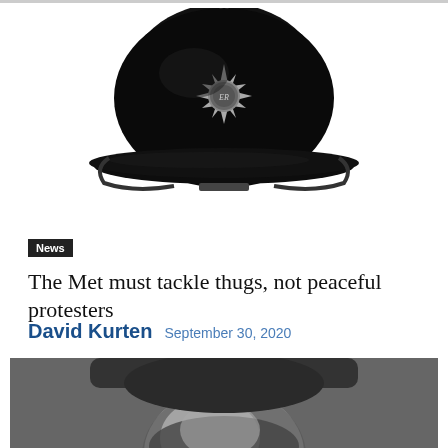[Figure (photo): Black and white photo of a British Metropolitan Police officer's helmet (custodian helmet) with silver crown badge and ER emblem, on white background]
News
The Met must tackle thugs, not peaceful protesters
David Kurten  September 30, 2020
[Figure (photo): Black and white photo cropped showing a bearded man's face looking upward, partially visible from bottom of page]